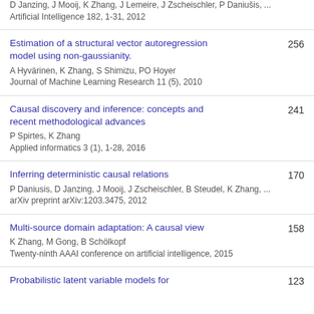D Janzing, J Mooij, K Zhang, J Lemeire, J Zscheischler, P Daniušis, ...
Artificial Intelligence 182, 1-31, 2012
Estimation of a structural vector autoregression model using non-gaussianity.
A Hyvärinen, K Zhang, S Shimizu, PO Hoyer
Journal of Machine Learning Research 11 (5), 2010
Causal discovery and inference: concepts and recent methodological advances
P Spirtes, K Zhang
Applied informatics 3 (1), 1-28, 2016
Inferring deterministic causal relations
P Daniusis, D Janzing, J Mooij, J Zscheischler, B Steudel, K Zhang, ...
arXiv preprint arXiv:1203.3475, 2012
Multi-source domain adaptation: A causal view
K Zhang, M Gong, B Schölkopf
Twenty-ninth AAAI conference on artificial intelligence, 2015
Probabilistic latent variable models for